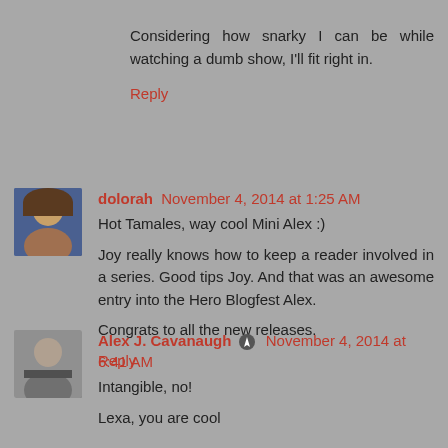Considering how snarky I can be while watching a dumb show, I'll fit right in.
Reply
dolorah November 4, 2014 at 1:25 AM
Hot Tamales, way cool Mini Alex :)
Joy really knows how to keep a reader involved in a series. Good tips Joy. And that was an awesome entry into the Hero Blogfest Alex.
Congrats to all the new releases.
Reply
Alex J. Cavanaugh November 4, 2014 at 6:41 AM
Intangible, no!
Lexa, you are cool